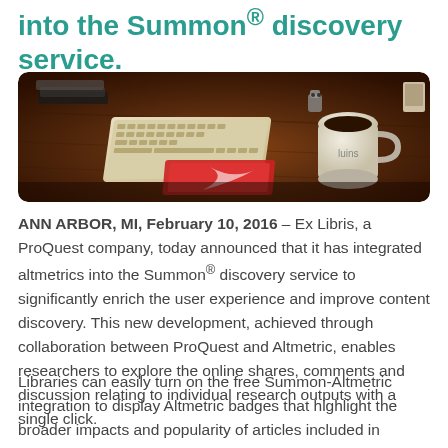into the Summon® discovery service.
[Figure (photo): Photo of a wooden desk with a keyboard, books, a coffee mug, and a red book/notebook, viewed from an angle]
ANN ARBOR, MI, February 10, 2016 – Ex Libris, a ProQuest company, today announced that it has integrated altmetrics into the Summon® discovery service to significantly enrich the user experience and improve content discovery. This new development, achieved through collaboration between ProQuest and Altmetric, enables researchers to explore the online shares, comments and discussion relating to individual research outputs with a single click.
Libraries can easily turn on the free Summon-Altmetric integration to display Altmetric badges that highlight the broader impacts and popularity of articles included in Summon result sets. Users can click a badge to explore the